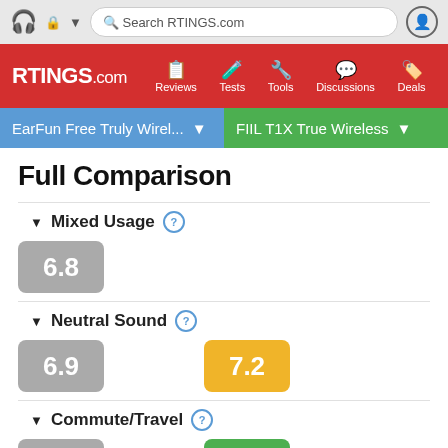Search RTINGS.com
[Figure (screenshot): RTINGS.com navigation bar with Reviews, Tests, Tools, Discussions, Deals]
EarFun Free Truly Wirel... | FIIL T1X True Wireless
Full Comparison
Mixed Usage
6.8
Neutral Sound
6.9 | 7.2
Commute/Travel
7.1 | 7.6
Sports/Fitness